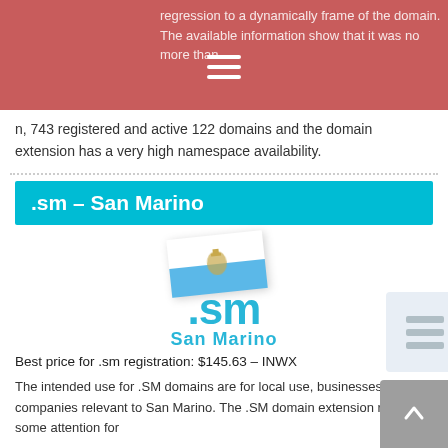regression to a dynamically frame of the domain. The available information show that it was no more than n, 743 registered and active 122 domains and the domain extension has a very high namespace availability.
.sm – San Marino
[Figure (illustration): San Marino flag and .sm domain logo with the text 'San Marino' below]
Best price for .sm registration: $145.63 – INWX
The intended use for .SM domains are for local use, businesses and companies relevant to San Marino. The .SM domain extension received some attention for